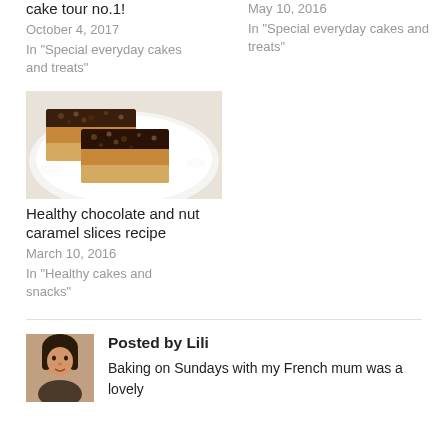cake tour no.1!
October 4, 2017
In "Special everyday cakes and treats"
May 10, 2016
In "Special everyday cakes and treats"
[Figure (photo): Chocolate and nut caramel slices on a white plate]
Healthy chocolate and nut caramel slices recipe
March 10, 2016
In "Healthy cakes and snacks"
Posted by Lili
Baking on Sundays with my French mum was a lovely